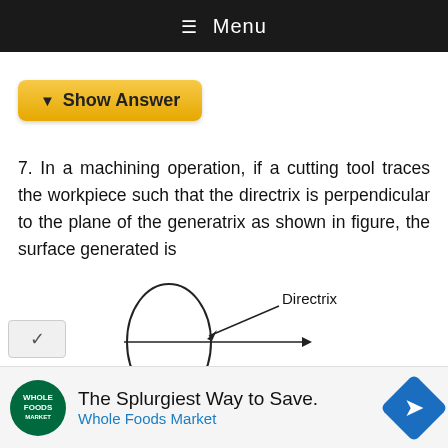≡ Menu
▼ Show Answer
7. In a machining operation, if a cutting tool traces the workpiece such that the directrix is perpendicular to the plane of the generatrix as shown in figure, the surface generated is
[Figure (engineering-diagram): Diagram showing an oval/ellipse shape (directrix) on the left with a horizontal line (generatrix) passing through it, with an arrow pointing right along the line and a diagonal arrow pointing to the ellipse labeled 'Directrix'.]
The Splurgiest Way to Save. Whole Foods Market